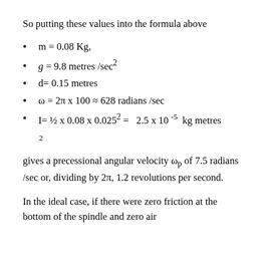So putting these values into the formula above
m = 0.08 Kg,
g = 9.8 metres /sec²
d= 0.15 metres
ω = 2π x 100 ≈ 628 radians /sec
I= ½ x 0.08 x 0.025² =   2.5 x 10⁻⁵  kg metres 2
gives a precessional angular velocity ωp of 7.5 radians /sec or, dividing by 2π, 1.2 revolutions per second.
In the ideal case, if there were zero friction at the bottom of the spindle and zero air